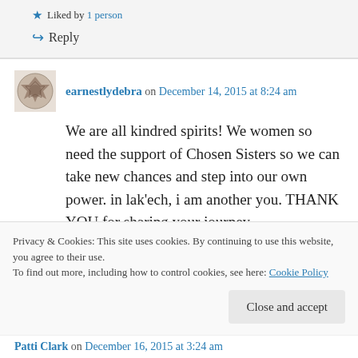★ Liked by 1 person
↪ Reply
earnestlydebra on December 14, 2015 at 8:24 am
We are all kindred spirits! We women so need the support of Chosen Sisters so we can take new chances and step into our own power. in lak'ech, i am another you. THANK YOU for sharing your journey.
Privacy & Cookies: This site uses cookies. By continuing to use this website, you agree to their use.
To find out more, including how to control cookies, see here: Cookie Policy
Close and accept
Patti Clark on December 16, 2015 at 3:24 am